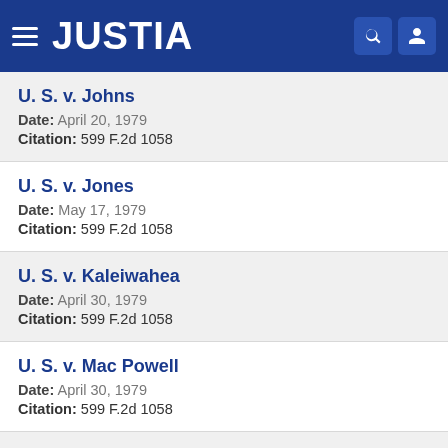JUSTIA
U. S. v. Johns
Date: April 20, 1979
Citation: 599 F.2d 1058
U. S. v. Jones
Date: May 17, 1979
Citation: 599 F.2d 1058
U. S. v. Kaleiwahea
Date: April 30, 1979
Citation: 599 F.2d 1058
U. S. v. Mac Powell
Date: April 30, 1979
Citation: 599 F.2d 1058